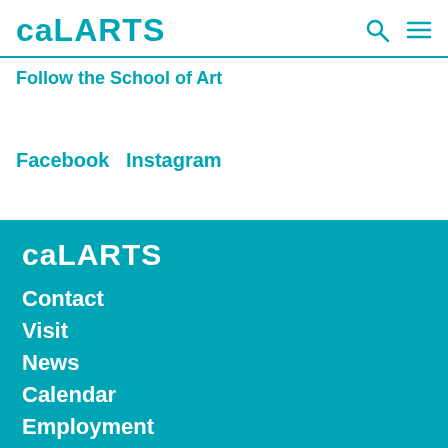CalARTS
Follow the School of Art
Facebook   Instagram
CalARTS
Contact
Visit
News
Calendar
Employment